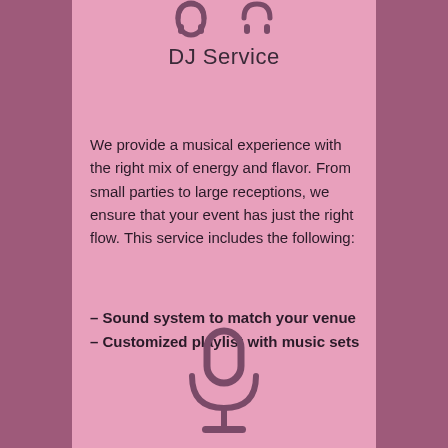[Figure (illustration): Two headphone icons in dark mauve at top of card]
DJ Service
We provide a musical experience with the right mix of energy and flavor.  From small parties to large receptions, we ensure that your event has just the right flow.  This service includes the following:
– Sound system to match your venue
– Customized playlist with music sets
[Figure (illustration): Microphone icon in dark mauve at bottom of card]